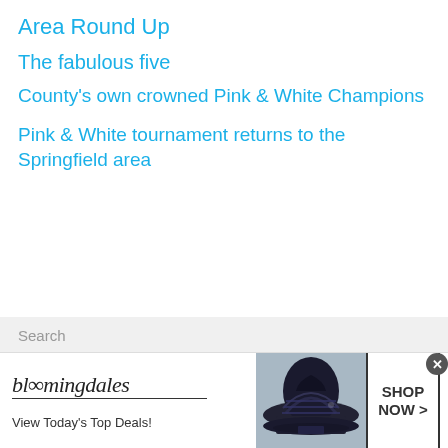Area Round Up
The fabulous five
County's own crowned Pink & White Champions
Pink & White tournament returns to the Springfield area
Search
[Figure (other): Bloomingdale's advertisement banner with woman in hat, 'View Today's Top Deals!' text and 'SHOP NOW >' button]